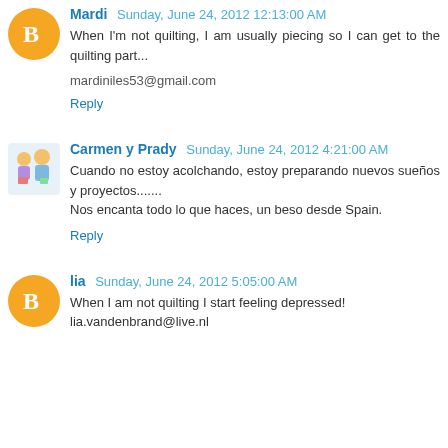Mardi Sunday, June 24, 2012 12:13:00 AM
When I'm not quilting, I am usually piecing so I can get to the quilting part...
mardiniles53@gmail.com
Reply
Carmen y Prady Sunday, June 24, 2012 4:21:00 AM
Cuando no estoy acolchando, estoy preparando nuevos sueños y proyectos....... Nos encanta todo lo que haces, un beso desde Spain.
Reply
lia Sunday, June 24, 2012 5:05:00 AM
When I am not quilting I start feeling depressed! lia.vandenbrand@live.nl